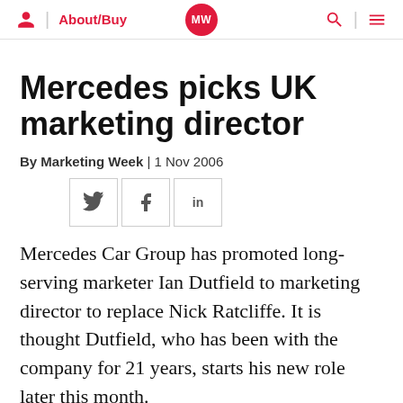About/Buy | MW | Search | Menu
Mercedes picks UK marketing director
By Marketing Week | 1 Nov 2006
[Figure (other): Social share buttons: Twitter, Facebook, LinkedIn]
Mercedes Car Group has promoted long-serving marketer Ian Dutfield to marketing director to replace Nick Ratcliffe. It is thought Dutfield, who has been with the company for 21 years, starts his new role later this month.